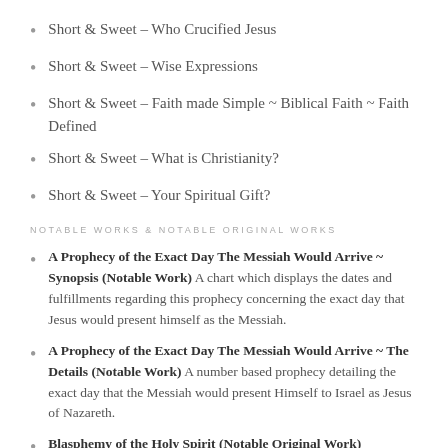Short & Sweet – Who Crucified Jesus
Short & Sweet – Wise Expressions
Short & Sweet – Faith made Simple ~ Biblical Faith ~ Faith Defined
Short & Sweet – What is Christianity?
Short & Sweet – Your Spiritual Gift?
NOTABLE WORKS & NOTABLE ORIGINAL WORKS
A Prophecy of the Exact Day The Messiah Would Arrive ~ Synopsis (Notable Work) A chart which displays the dates and fulfillments regarding this prophecy concerning the exact day that Jesus would present himself as the Messiah.
A Prophecy of the Exact Day The Messiah Would Arrive ~ The Details (Notable Work) A number based prophecy detailing the exact day that the Messiah would present Himself to Israel as Jesus of Nazareth.
Blasphemy of the Holy Spirit (Notable Original Work) Blasphemy of the Holy Spirit is a different thought to ponder and has been...